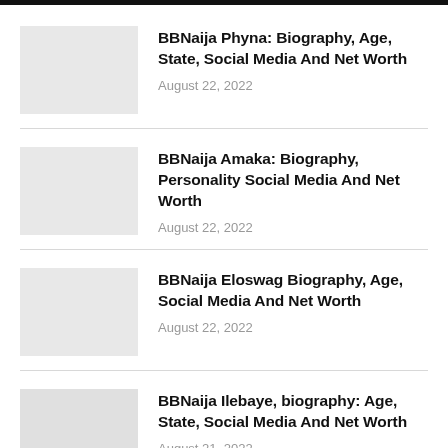BBNaija Phyna: Biography, Age, State, Social Media And Net Worth — August 22, 2022
BBNaija Amaka: Biography, Personality Social Media And Net Worth — August 22, 2022
BBNaija Eloswag Biography, Age, Social Media And Net Worth — August 22, 2022
BBNaija Ilebaye, biography: Age, State, Social Media And Net Worth — August 21, 2022